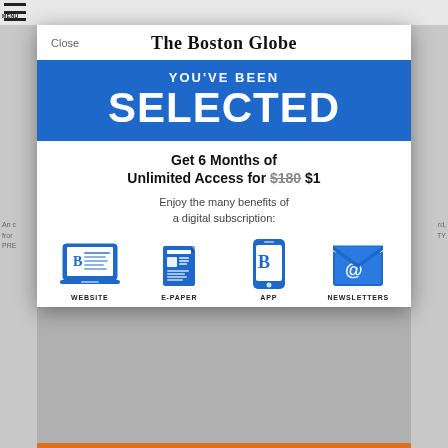The Boston Globe
YOU'VE BEEN SELECTED
Get 6 Months of Unlimited Access for $180 $1
Enjoy the many benefits of a digital subscription:
[Figure (infographic): Four blue icons representing subscription benefits: WEBSITE (laptop with Globe logo), E-PAPER (folded newspaper), APP (smartphone with Globe logo), NEWSLETTERS (envelope with @ symbol)]